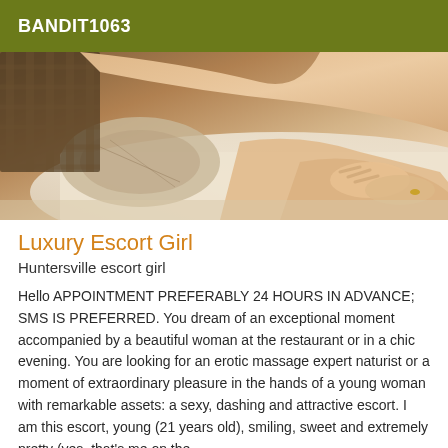BANDIT1063
[Figure (photo): Close-up photo of a person lying on a bed with white sheets and a decorative pillow, showing intertwined hands with a ring visible.]
Luxury Escort Girl
Huntersville escort girl
Hello APPOINTMENT PREFERABLY 24 HOURS IN ADVANCE; SMS IS PREFERRED. You dream of an exceptional moment accompanied by a beautiful woman at the restaurant or in a chic evening. You are looking for an erotic massage expert naturist or a moment of extraordinary pleasure in the hands of a young woman with remarkable assets: a sexy, dashing and attractive escort. I am this escort, young (21 years old), smiling, sweet and extremely pretty (yes, that's me on the